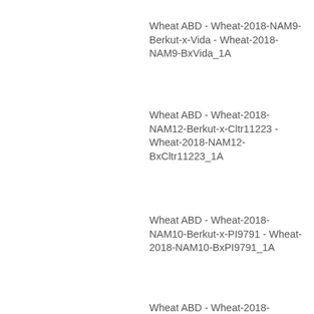BxPI62403_1A
Wheat ABD - Wheat-2018-NAM9-Berkut-x-Vida - Wheat-2018-NAM9-BxVida_1A
Wheat ABD - Wheat-2018-NAM12-Berkut-x-Cltr11223 - Wheat-2018-NAM12-BxCltr11223_1A
Wheat ABD - Wheat-2018-NAM10-Berkut-x-PI9791 - Wheat-2018-NAM10-BxPI9791_1A
Wheat ABD - Wheat-2018-NAM10-Berkut-x-PI9791 - Wheat-2018-NAM10-BxPI9791_1A
Wheat ABD -